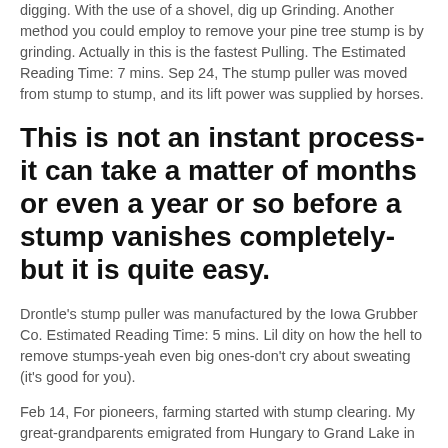digging. With the use of a shovel, dig up Grinding. Another method you could employ to remove your pine tree stump is by grinding. Actually in this is the fastest Pulling. The Estimated Reading Time: 7 mins. Sep 24, The stump puller was moved from stump to stump, and its lift power was supplied by horses.
This is not an instant process-it can take a matter of months or even a year or so before a stump vanishes completely-but it is quite easy.
Drontle’s stump puller was manufactured by the Iowa Grubber Co. Estimated Reading Time: 5 mins. Lil dity on how the hell to remove stumps-yeah even big ones-don't cry about sweating (it's good for you).
Feb 14, For pioneers, farming started with stump clearing. My great-grandparents emigrated from Hungary to Grand Lake in Cold Spring in the s. They.